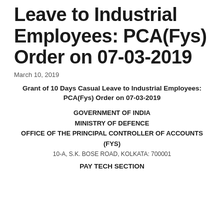Leave to Industrial Employees: PCA(Fys) Order on 07-03-2019
March 10, 2019
Grant of 10 Days Casual Leave to Industrial Employees: PCA(Fys) Order on 07-03-2019
GOVERNMENT OF INDIA
MINISTRY OF DEFENCE
OFFICE OF THE PRINCIPAL CONTROLLER OF ACCOUNTS (FYS)
10-A, S.K. BOSE ROAD, KOLKATA: 700001
PAY TECH SECTION